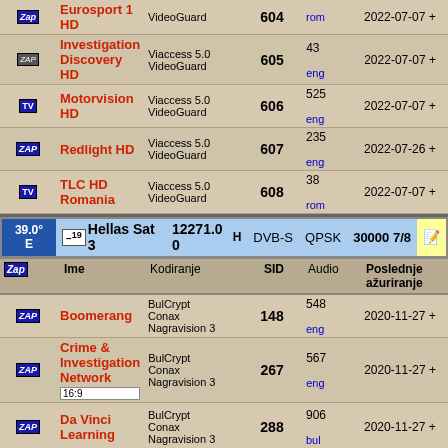| Zap | Ime | Kodiranje | SID | Audio | Poslednje ažuriranje |
| --- | --- | --- | --- | --- | --- |
| ZAP | Eurosport 1 HD | VideoGuard | 604 | rom | 2022-07-07 + |
| ZAP | Investigation Discovery HD | Viaccess 5.0 / VideoGuard | 605 | 43 eng | 2022-07-07 + |
| TV | Motorvision HD | Viaccess 5.0 / VideoGuard | 606 | 525 eng | 2022-07-07 + |
| ZAP | Redlight HD | Viaccess 5.0 / VideoGuard | 607 | 235 eng | 2022-07-26 + |
| TV | TLC HD Romania | Viaccess 5.0 / VideoGuard | 608 | 38 rom | 2022-07-07 + |
39.0° E  Hellas Sat 3  12271.00  H  DVB-S  QPSK  30000 7/8
| Zap | Ime | Kodiranje | SID | Audio | Poslednje ažuriranje |
| --- | --- | --- | --- | --- | --- |
| ZAP | Boomerang | BulCrypt / Conax / Nagravision 3 | 148 | 548 eng | 2020-11-27 + |
| ZAP | Crime & Investigation Network 16:9 | BulCrypt / Conax / Nagravision 3 | 267 | 567 eng | 2020-11-27 + |
| ZAP | Da Vinci Learning | BulCrypt / Conax / Nagravision 3 | 288 | 906 bul | 2020-11-27 + |
| ZAP | Viasat History 16:9 | BulCrypt / Conax / Nagravision 3 | 342 | 929 eng | 2020-11-27 + |
| ZAP | Viasat Nature CEE 16:9 | BulCrypt / Conax / Nagravision 3 | 343 | 931 eng | 2020-11-27 + |
| ZAP | Planeta TV | BulCrypt / Conax / Nagravision 3 | 1002 | 337 bul | 2021-04-28 + |